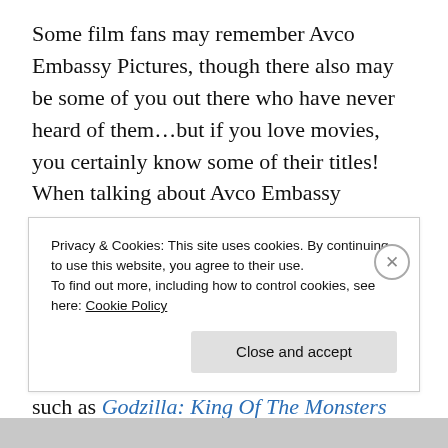Some film fans may remember Avco Embassy Pictures, though there also may be some of you out there who have never heard of them…but if you love movies, you certainly know some of their titles! When talking about Avco Embassy Pictures, it would also be remiss not to mention the name of Robert Rehme…and as a B-Movie fan, you might want to know who this man is, too…
Originally a distributor of foreign films, such as Godzilla: King Of The Monsters and Fellini's 8 1/2, Avco Embassy was founded by legendary producer Joseph E.
Privacy & Cookies: This site uses cookies. By continuing to use this website, you agree to their use.
To find out more, including how to control cookies, see here: Cookie Policy